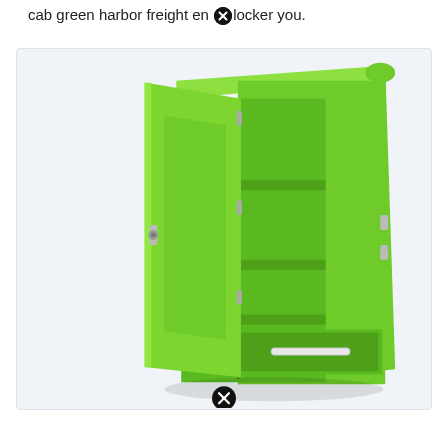cab green harbor freight end locker you.
[Figure (photo): A bright green metal storage cabinet/locker with one door open, revealing three interior shelves and one drawer at the bottom with a chrome pull handle. The cabinet is photographed at a slight angle on a white background.]